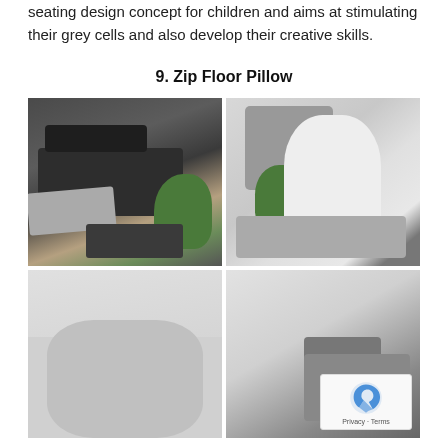seating design concept for children and aims at stimulating their grey cells and also develop their creative skills.
9. Zip Floor Pillow
[Figure (photo): Four-panel photo grid showing Zip Floor Pillow product: top-left shows dark floor cushions arranged like a sofa with a plant; top-right shows a woman in white clothing reclining on grey floor cushions; bottom-left shows a person lying on a floor cushion; bottom-right shows floor cushions arranged with a person.]